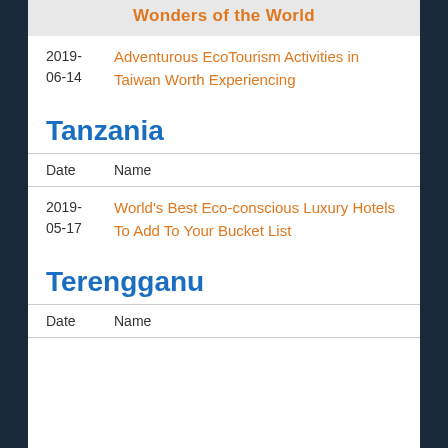Wonders of the World
2019-06-14 | Adventurous EcoTourism Activities in Taiwan Worth Experiencing
Tanzania
| Date | Name |
| --- | --- |
| 2019-05-17 | World’s Best Eco-conscious Luxury Hotels To Add To Your Bucket List |
Terengganu
| Date | Name |
| --- | --- |